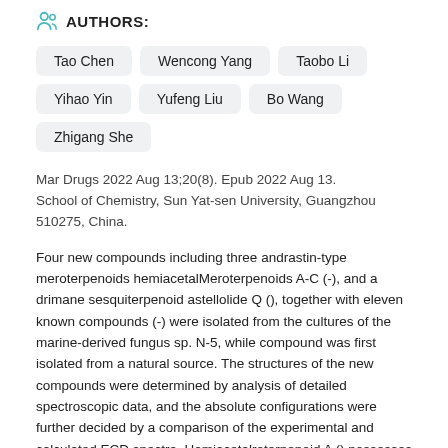AUTHORS:
Tao Chen
Wencong Yang
Taobo Li
Yihao Yin
Yufeng Liu
Bo Wang
Zhigang She
Mar Drugs 2022 Aug 13;20(8). Epub 2022 Aug 13. School of Chemistry, Sun Yat-sen University, Guangzhou 510275, China.
Four new compounds including three andrastin-type meroterpenoids hemiacetalMeroterpenoids A-C (-), and a drimane sesquiterpenoid astellolide Q (), together with eleven known compounds (-) were isolated from the cultures of the marine-derived fungus sp. N-5, while compound was first isolated from a natural source. The structures of the new compounds were determined by analysis of detailed spectroscopic data, and the absolute configurations were further decided by a comparison of the experimental and calculated ECD spectra. Hemiacetalroterpenoid A () possesses a unique and highly congested 6,6,6,6,5,5-hexa-